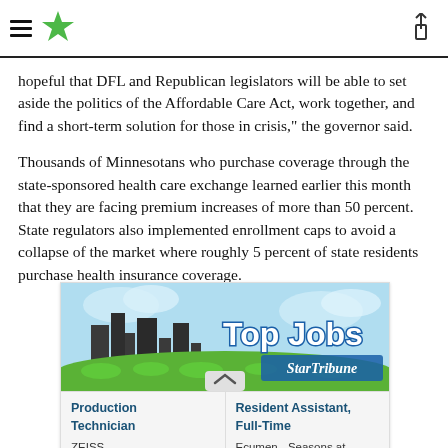StarTribune navigation header
hopeful that DFL and Republican legislators will be able to set aside the politics of the Affordable Care Act, work together, and find a short-term solution for those in crisis," the governor said.
Thousands of Minnesotans who purchase coverage through the state-sponsored health care exchange learned earlier this month that they are facing premium increases of more than 50 percent. State regulators also implemented enrollment caps to avoid a collapse of the market where roughly 5 percent of state residents purchase health insurance coverage.
[Figure (infographic): Top Jobs StarTribune advertisement banner with city skyline silhouette, green grass, and job listings for Production Technician at ZEISS and Resident Assistant, Full-Time at Ecumen - Seasons at Maplewood]